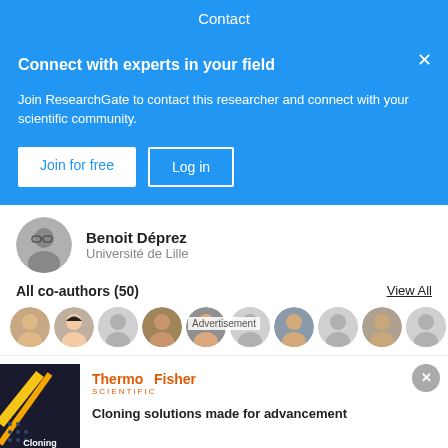Contact
Connect with experts in your field
Join ResearchGate to contact this researcher and connect with your scientific community.
Join for free | Log in
Benoit Déprez
Université de Lille
All co-authors (50)
View All
[Figure (photo): Row of co-author profile avatars]
[Figure (logo): ThermoFisher Scientific logo]
Cloning solutions made for advancement